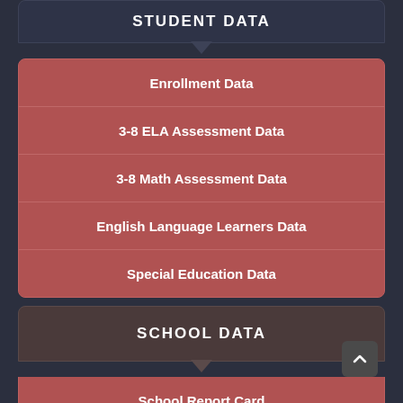STUDENT DATA
Enrollment Data
3-8 ELA Assessment Data
3-8 Math Assessment Data
English Language Learners Data
Special Education Data
SCHOOL DATA
School Report Card
High School Graduation Rate
High School Graduation Pathways Data